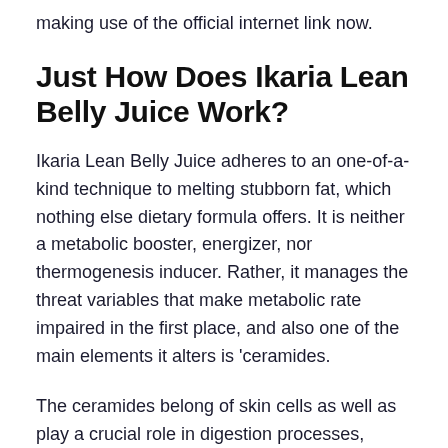making use of the official internet link now.
Just How Does Ikaria Lean Belly Juice Work?
Ikaria Lean Belly Juice adheres to an one-of-a-kind technique to melting stubborn fat, which nothing else dietary formula offers. It is neither a metabolic booster, energizer, nor thermogenesis inducer. Rather, it manages the threat variables that make metabolic rate impaired in the first place, and also one of the main elements it alters is ‘ceramides.
The ceramides belong of skin cells as well as play a crucial role in digestion processes, production, and